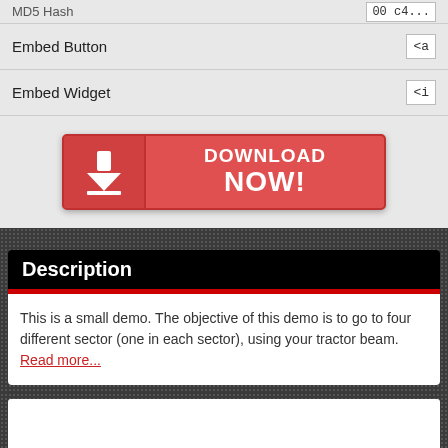| Embed Button | <a |
| Embed Widget | <i |
[Figure (other): Red Download Now button with download arrow icon]
Description
This is a small demo. The objective of this demo is to go to four different sector (one in each sector), using your tractor beam. Read more...